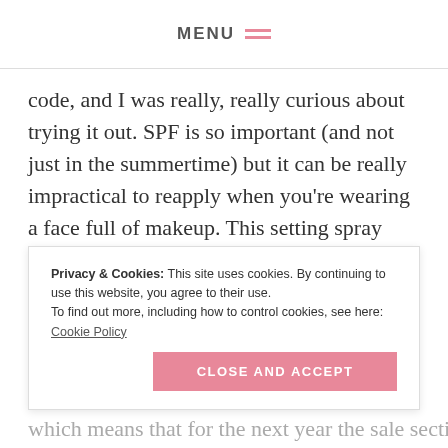MENU
code, and I was really, really curious about trying it out. SPF is so important (and not just in the summertime) but it can be really impractical to reapply when you’re wearing a face full of makeup. This setting spray will not only help to keep your makeup looking fresh and lovely all day, but it also gives you a boost of sun protection anytime you need it. I’m definitely planning on writing a more in-depth
Privacy & Cookies: This site uses cookies. By continuing to use this website, you agree to their use.
To find out more, including how to control cookies, see here: Cookie Policy
which means that for the next year the sale section of